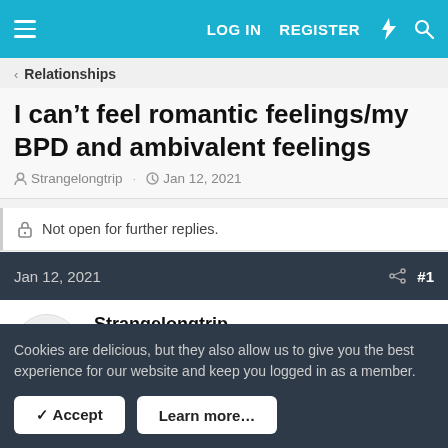LOG IN   REGISTER
< Relationships
I can't feel romantic feelings/my BPD and ambivalent feelings
Strangelongtrip · Jan 12, 2021
Not open for further replies.
Jan 12, 2021   #1
Strangelongtrip
MyPTSD Pro
Cookies are delicious, but they also allow us to give you the best experience for our website and keep you logged in as a member.
✓ Accept   Learn more…